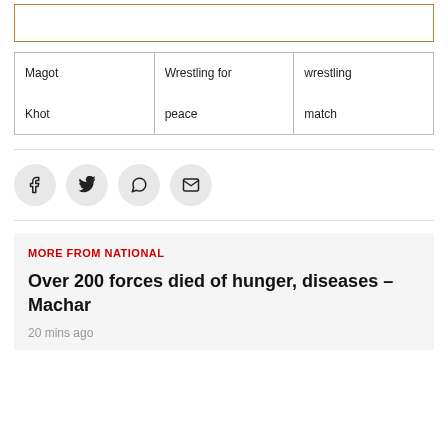[Figure (other): Empty bordered box at top of page]
| Magot

Khot | Wrestling for

peace | wrestling

match |
[Figure (infographic): Social share buttons: Facebook, Twitter, WhatsApp, Email]
MORE FROM NATIONAL
Over 200 forces died of hunger, diseases – Machar
20 mins ago